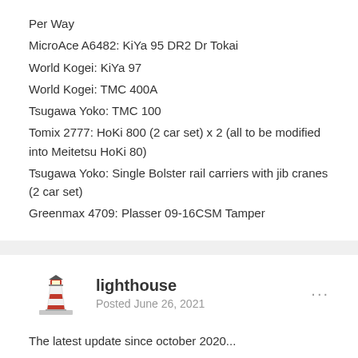Per Way
MicroAce A6482: KiYa 95 DR2 Dr Tokai
World Kogei: KiYa 97
World Kogei: TMC 400A
Tsugawa Yoko: TMC 100
Tomix 2777: HoKi 800 (2 car set) x 2 (all to be modified into Meitetsu HoKi 80)
Tsugawa Yoko: Single Bolster rail carriers with jib cranes (2 car set)
Greenmax 4709: Plasser 09-16CSM Tamper
lighthouse
Posted June 26, 2021
The latest update since october 2020...
A few new and older models have been added. But lately I have been wondering whether I really need every model of the JR Hokkaido. The biggest problem is the non-existent model railway